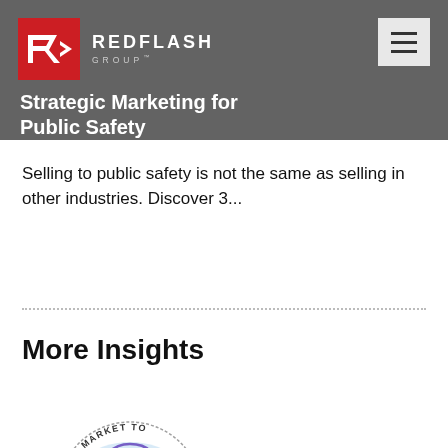REDFLASH GROUP
Strategic Marketing for Public Safety
Selling to public safety is not the same as selling in other industries. Discover 3...
More Insights
[Figure (illustration): Circular badge illustration with text 'HOW TO MARKET TO' around a watercolor head silhouette containing a headset icon, labeled '911' at bottom]